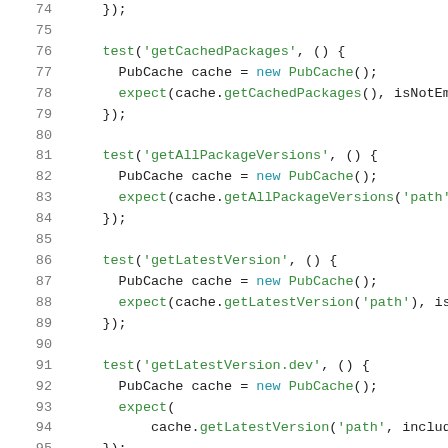[Figure (screenshot): Source code snippet in Dart/Java showing unit test methods: getCachedPackages, getAllPackageVersions, getLatestVersion, getLatestVersion.dev. Lines 74-95 visible with line numbers on left in gray, keywords in blue, strings in green.]